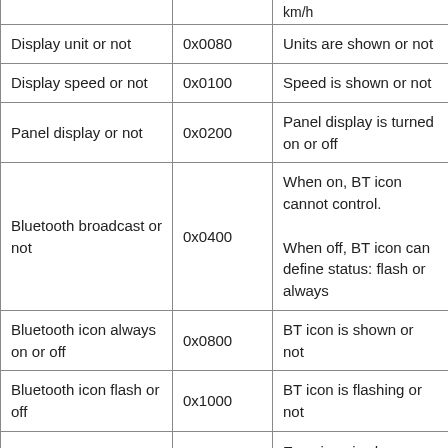| Feature | Code | Description |
| --- | --- | --- |
|  |  | km/h |
| Display unit or not | 0x0080 | Units are shown or not |
| Display speed or not | 0x0100 | Speed is shown or not |
| Panel display or not | 0x0200 | Panel display is turned on or off |
| Bluetooth broadcast or not | 0x0400 | When on, BT icon cannot control.
When off, BT icon can define status: flash or always |
| Bluetooth icon always on or off | 0x0800 | BT icon is shown or not |
| Bluetooth icon flash or off | 0x1000 | BT icon is flashing or not |
|  |  | Error icon is shown or |